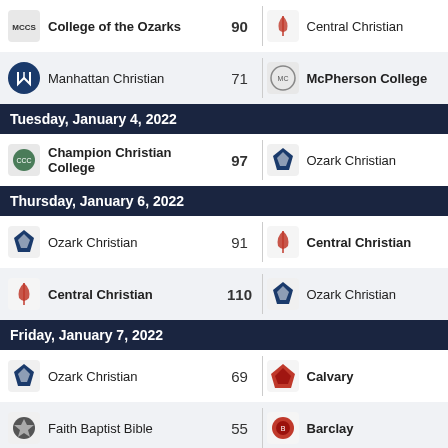College of the Ozarks 90 vs Central Christian
Manhattan Christian 71 vs McPherson College
Tuesday, January 4, 2022
Champion Christian College 97 vs Ozark Christian
Thursday, January 6, 2022
Ozark Christian 91 vs Central Christian
Central Christian 110 vs Ozark Christian
Friday, January 7, 2022
Ozark Christian 69 vs Calvary
Faith Baptist Bible 55 vs Barclay
Saturday, January 8, 2022
Faith Baptist Bible 64 vs Manhattan Christian